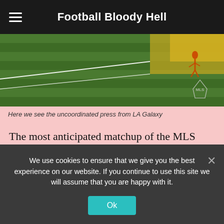Football Bloody Hell
[Figure (photo): A football/soccer field with green grass, a player visible in the upper right area, and an MLS logo watermark in the lower right. Yellow/golden goal area markings visible. The image is a video still of the game.]
Here we see the uncoordinated press from LA Galaxy
The most anticipated matchup of the MLS came in the Banc of California Stadium. The 3,252 could be heard from miles away, the thunder of their “Oles!”s shaking the MLS league leader’s stadium.
After it was El Trafico, the highly contested match-up between LAFC and LA Galaxy that hosts itself
We use cookies to ensure that we give you the best experience on our website. If you continue to use this site we will assume that you are happy with it.